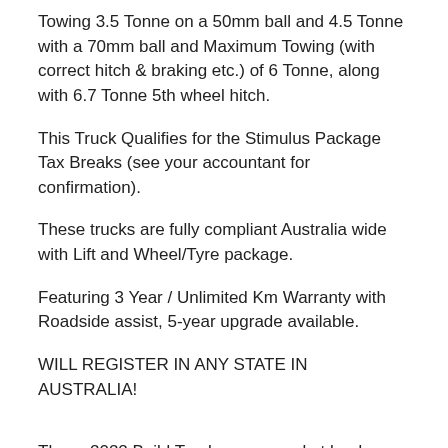Towing 3.5 Tonne on a 50mm ball and 4.5 Tonne with a 70mm ball and Maximum Towing (with correct hitch & braking etc.) of 6 Tonne, along with 6.7 Tonne 5th wheel hitch.
This Truck Qualifies for the Stimulus Package Tax Breaks (see your accountant for confirmation).
These trucks are fully compliant Australia wide with Lift and Wheel/Tyre package.
Featuring 3 Year / Unlimited Km Warranty with Roadside assist, 5-year upgrade available.
WILL REGISTER IN ANY STATE IN AUSTRALIA!
These 2022 Build Trucks are a market leader and highly sought after in Australia.